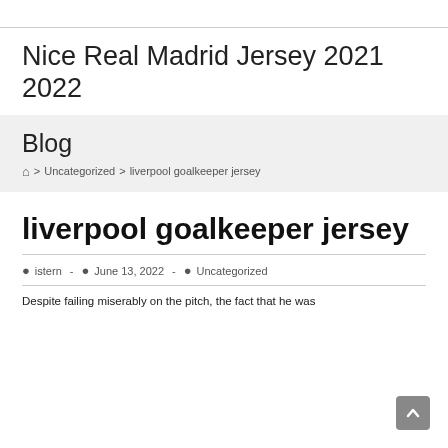Nice Real Madrid Jersey 2021 2022
Blog
Home > Uncategorized > liverpool goalkeeper jersey
liverpool goalkeeper jersey
Post author: istern - Post date: June 13, 2022 - Post category: Uncategorized
Despite failing miserably on the pitch, the fact that he was